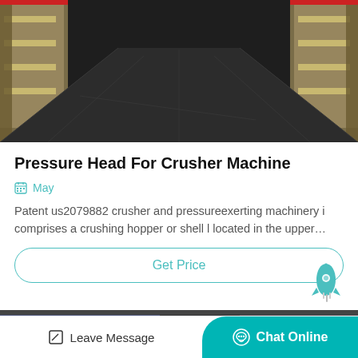[Figure (photo): Industrial crusher machines lined up in a dark warehouse/factory floor, viewed from a low angle perspective showing the aisle between machines.]
Pressure Head For Crusher Machine
May
Patent us2079882 crusher and pressureexerting machinery i comprises a crushing hopper or shell l located in the upper…
Get Price
[Figure (photo): Partial bottom image showing industrial machinery or pipes in blue/grey tones.]
Leave Message
Chat Online